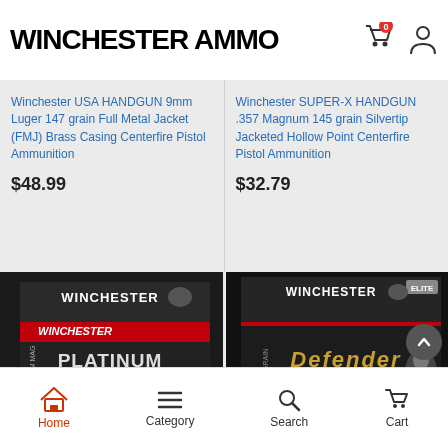WINCHESTER AMMO
Winchester USA HANDGUN 9mm Luger 147 grain Full Metal Jacket (FMJ) Brass Casing Centerfire Pistol Ammunition
$48.99
Winchester SUPER-X HANDGUN .357 Magnum 145 grain Silvertip Jacketed Hollow Point Centerfire Pistol Ammunition
$32.79
[Figure (photo): Winchester Platinum Tip ammunition box for deer and black bear, black box with red Winchester logo]
[Figure (photo): Winchester Elite Defender ammunition box, black box with gold Defender branding]
Home  Category  Search  Cart